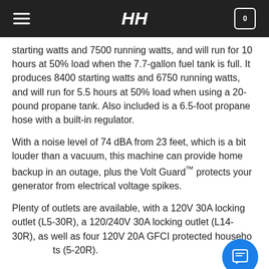HH (logo) | hamburger menu | cart icon with 0
starting watts and 7500 running watts, and will run for 10 hours at 50% load when the 7.7-gallon fuel tank is full. It produces 8400 starting watts and 6750 running watts, and will run for 5.5 hours at 50% load when using a 20-pound propane tank. Also included is a 6.5-foot propane hose with a built-in regulator.
With a noise level of 74 dBA from 23 feet, which is a bit louder than a vacuum, this machine can provide home backup in an outage, plus the Volt Guard™ protects your generator from electrical voltage spikes.
Plenty of outlets are available, with a 120V 30A locking outlet (L5-30R), a 120/240V 30A locking outlet (L14-30R), as well as four 120V 20A GFCI protected household outlets (5-20R).